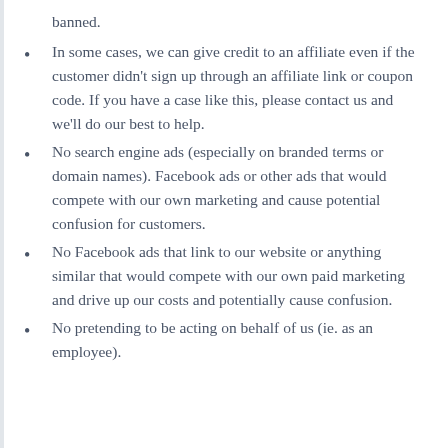banned.
In some cases, we can give credit to an affiliate even if the customer didn't sign up through an affiliate link or coupon code. If you have a case like this, please contact us and we'll do our best to help.
No search engine ads (especially on branded terms or domain names). Facebook ads or other ads that would compete with our own marketing and cause potential confusion for customers.
No Facebook ads that link to our website or anything similar that would compete with our own paid marketing and drive up our costs and potentially cause confusion.
No pretending to be acting on behalf of us (ie. as an employee).